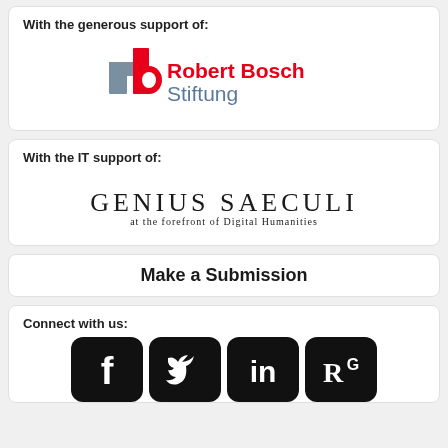With the generous support of:
[Figure (logo): Robert Bosch Stiftung logo with stylized red and grey 'rb' icon and red 'Robert Bosch' text and grey 'Stiftung' text]
With the IT support of:
[Figure (logo): Genius Saeculi logo with serif text 'GENIUS SAECULI' and subtitle 'at the forefront of Digital Humanities']
Make a Submission
Connect with us:
[Figure (logo): Social media icons for Facebook, Twitter, LinkedIn, and ResearchGate on black rounded square backgrounds]